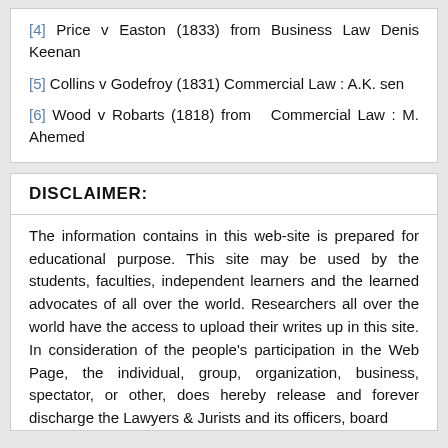[4] Price v Easton (1833) from Business Law Denis Keenan
[5] Collins v Godefroy (1831) Commercial Law : A.K. sen
[6] Wood v Robarts (1818) from  Commercial Law : M. Ahemed
DISCLAIMER:
The information contains in this web-site is prepared for educational purpose. This site may be used by the students, faculties, independent learners and the learned advocates of all over the world. Researchers all over the world have the access to upload their writes up in this site. In consideration of the people's participation in the Web Page, the individual, group, organization, business, spectator, or other, does hereby release and forever discharge the Lawyers & Jurists and its officers, board